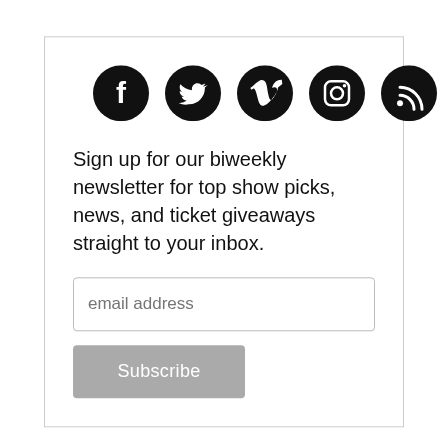[Figure (illustration): Five social media icons in black circles: Facebook, Twitter, Vimeo, Instagram, RSS feed]
Sign up for our biweekly newsletter for top show picks, news, and ticket giveaways straight to your inbox.
email address
Subscribe